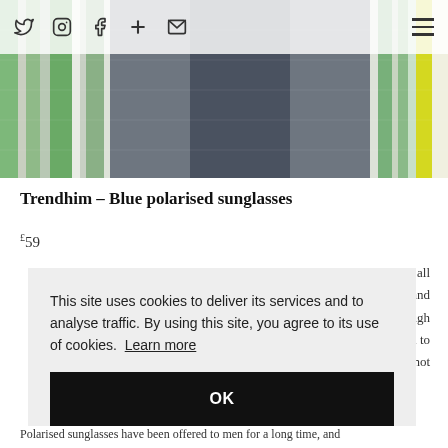Social icons: Twitter, Instagram, Facebook, Plus, Email | Hamburger menu
[Figure (photo): Striped textile/fabric pattern with vertical stripes in green, grey, dark grey, teal, white, yellow, and cream colors]
Trendhim – Blue polarised sunglasses
£59
...re all ... s and ...ough ...th to ...e not
This site uses cookies to deliver its services and to analyse traffic. By using this site, you agree to its use of cookies. Learn more
OK
Polarised sunglasses have been offered to men for a long time, and...